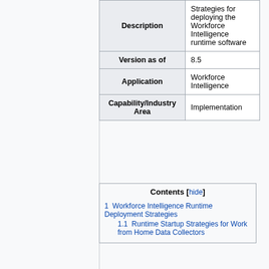| Description | Value |
| --- | --- |
| Description | Strategies for deploying the Workforce Intelligence runtime software |
| Version as of | 8.5 |
| Application | Workforce Intelligence |
| Capability/Industry Area | Implementation |
| Contents |
| --- |
| 1 Workforce Intelligence Runtime Deployment Strategies |
| 1.1 Runtime Startup Strategies for Work from Home Data Collectors |